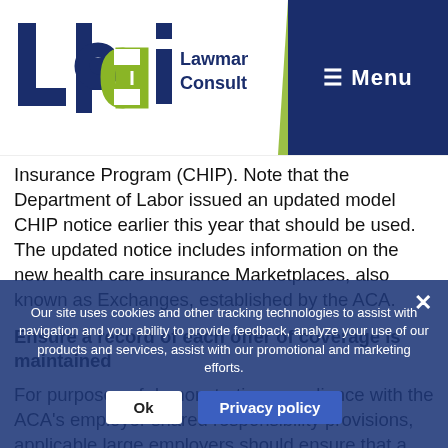Lawman Benefits Consulting, Inc. — Menu
Insurance Program (CHIP). Note that the Department of Labor issued an updated model CHIP notice earlier this year that should be used. The updated notice includes information on the new health care insurance Marketplaces, also known as Exchanges, established by the ACA.
Ensure a record of each offer of coverage is maintained
For purposes of demonstrating compliance with the ACA's employer shared responsibility provisions, applicable large employers should ensure that a written record is maintained of all offers of coverage, including off-cycle hires and changes to benefits eligible status. This is because the potential penalties under the ACA's employer shared responsibility provisions are based on...
Our site uses cookies and other tracking technologies to assist with navigation and your ability to provide feedback, analyze your use of our products and services, assist with our promotional and marketing efforts.